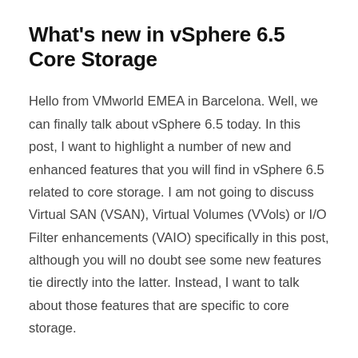What's new in vSphere 6.5 Core Storage
Hello from VMworld EMEA in Barcelona. Well, we can finally talk about vSphere 6.5 today. In this post, I want to highlight a number of new and enhanced features that you will find in vSphere 6.5 related to core storage. I am not going to discuss Virtual SAN (VSAN), Virtual Volumes (VVols) or I/O Filter enhancements (VAIO) specifically in this post, although you will no doubt see some new features tie directly into the latter. Instead, I want to talk about those features that are specific to core storage.
READ MORE →